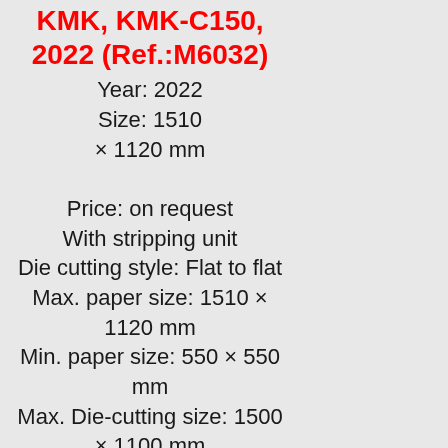KMK, KMK-C150, 2022 (Ref.:M6032)
Year: 2022 Size: 1510 × 1120 mm

Price: on request
With stripping unit
Die cutting style: Flat to flat
Max. paper size: 1510 × 1120 mm
Min. paper size: 550 × 550 mm
Max. Die-cutting size: 1500 × 1100 mm
Max. Die-cutting...